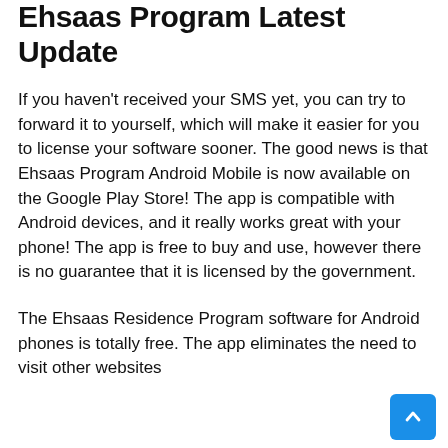Ehsaas Program Latest Update
If you haven't received your SMS yet, you can try to forward it to yourself, which will make it easier for you to license your software sooner. The good news is that Ehsaas Program Android Mobile is now available on the Google Play Store! The app is compatible with Android devices, and it really works great with your phone! The app is free to buy and use, however there is no guarantee that it is licensed by the government.
The Ehsaas Residence Program software for Android phones is totally free. The app eliminates the need to visit other websites